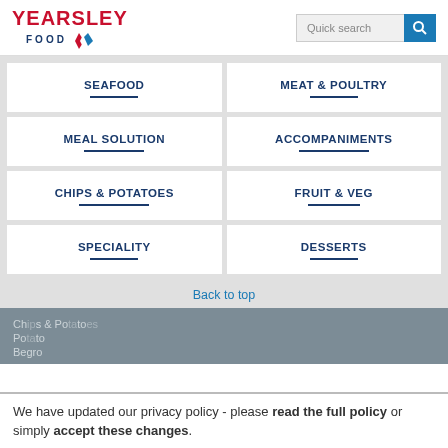[Figure (logo): Yearsley Food logo with red text 'YEARSLEY', blue 'FOOD' and diamond/chevron graphic in red, white, blue]
SEAFOOD
MEAT & POULTRY
MEAL SOLUTION
ACCOMPANIMENTS
CHIPS & POTATOES
FRUIT & VEG
SPECIALITY
DESSERTS
Back to top
We have updated our privacy policy - please read the full policy or simply accept these changes.
Begro